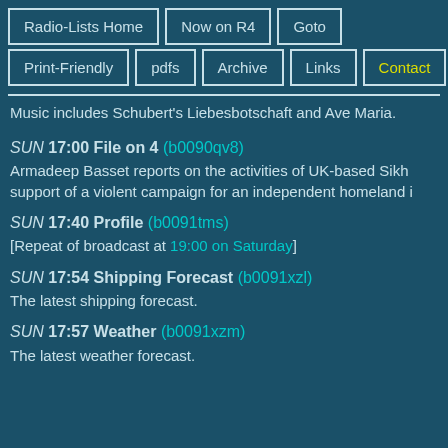Radio-Lists Home | Now on R4 | Goto | Print-Friendly | pdfs | Archive | Links | Contact
Music includes Schubert's Liebesbotschaft and Ave Maria.
SUN 17:00 File on 4 (b0090qv8) Armadeep Basset reports on the activities of UK-based Sikh support of a violent campaign for an independent homeland i
SUN 17:40 Profile (b0091tms) [Repeat of broadcast at 19:00 on Saturday]
SUN 17:54 Shipping Forecast (b0091xzl) The latest shipping forecast.
SUN 17:57 Weather (b0091xzm) The latest weather forecast.